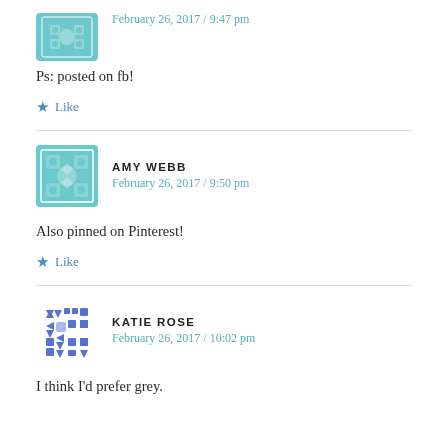February 26, 2017 / 9:47 pm
Ps: posted on fb!
Like
AMY WEBB
February 26, 2017 / 9:50 pm
Also pinned on Pinterest!
Like
KATIE ROSE
February 26, 2017 / 10:02 pm
I think I'd prefer grey.